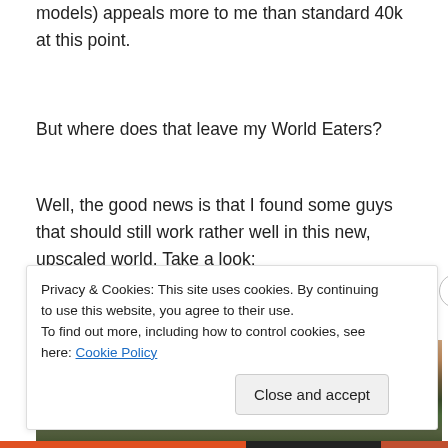models) appeals more to me than standard 40k at this point.
But where does that leave my World Eaters?
Well, the good news is that I found some guys that should still work rather well in this new, upscaled world. Take a look:
[Figure (photo): Photo of miniature figures on a terrain/gaming board with a brown and green background]
Privacy & Cookies: This site uses cookies. By continuing to use this website, you agree to their use.
To find out more, including how to control cookies, see here: Cookie Policy
Close and accept